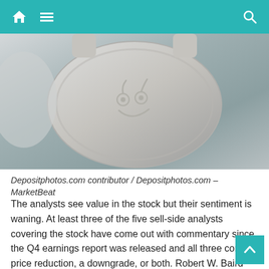Home | Menu | Search
[Figure (photo): Close-up photo of a silver/beige headphone ear cup with a cartoon face (two circular eyes and a curved smile) embossed on it.]
Depositphotos.com contributor / Depositphotos.com – MarketBeat
The analysts see value in the stock but their sentiment is waning. At least three of the five sell-side analysts covering the stock have come out with commentary since the Q4 earnings report was released and all three contain price reduction, a downgrade, or both. Robert W. Baird downgraded the stock to Neutral from Overweight and lowered the price target from $ 38 to $ 13 which is quite a cut. The other two